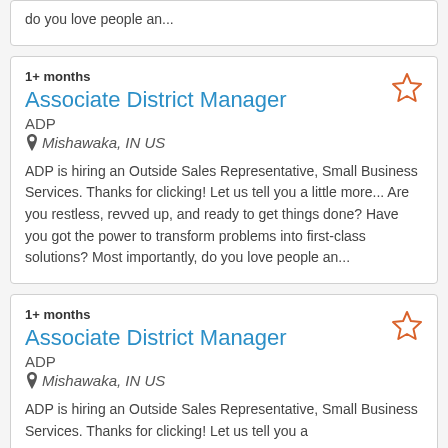do you love people an...
1+ months
Associate District Manager
ADP
Mishawaka, IN US
ADP is hiring an Outside Sales Representative, Small Business Services. Thanks for clicking! Let us tell you a little more... Are you restless, revved up, and ready to get things done? Have you got the power to transform problems into first-class solutions? Most importantly, do you love people an...
1+ months
Associate District Manager
ADP
Mishawaka, IN US
ADP is hiring an Outside Sales Representative, Small Business Services. Thanks for clicking! Let us tell you a